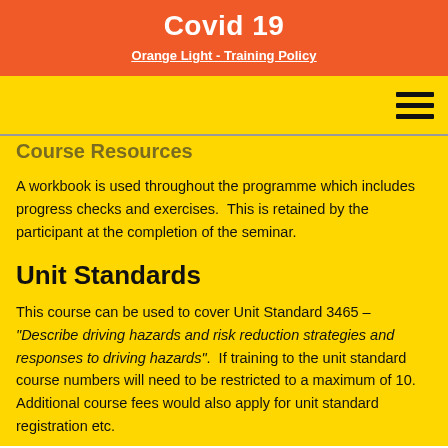Covid 19
Orange Light - Training Policy
Course Resources
A workbook is used throughout the programme which includes progress checks and exercises.  This is retained by the participant at the completion of the seminar.
Unit Standards
This course can be used to cover Unit Standard 3465 – "Describe driving hazards and risk reduction strategies and responses to driving hazards".  If training to the unit standard course numbers will need to be restricted to a maximum of 10.  Additional course fees would also apply for unit standard registration etc.